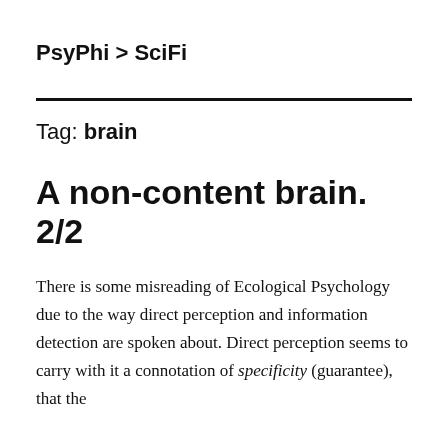PsyPhi > SciFi
Tag: brain
A non-content brain. 2/2
There is some misreading of Ecological Psychology due to the way direct perception and information detection are spoken about. Direct perception seems to carry with it a connotation of specificity (guarantee), that the